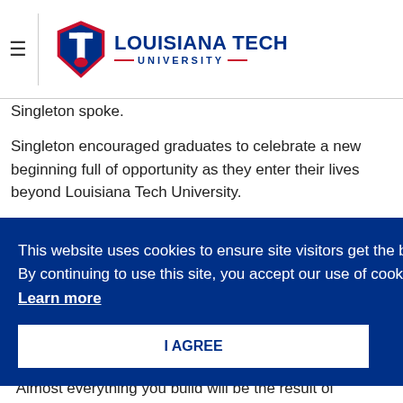Louisiana Tech University
Singleton spoke.
Singleton encouraged graduates to celebrate a new beginning full of opportunity as they enter their lives beyond Louisiana Tech University.
This website uses cookies to ensure site visitors get the best experience on our website. By continuing to use this site, you accept our use of cookies and Privacy Statement. Learn more
I AGREE
“Almost everything you build will be the result of